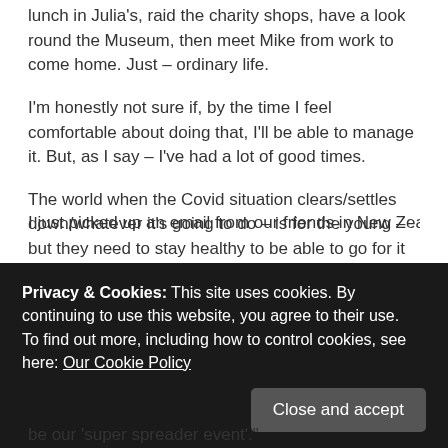lunch in Julia's, raid the charity shops, have a look round the Museum, then meet Mike from work to come home.  Just – ordinary life.
I'm honestly not sure if, by the time I feel comfortable about doing that, I'll be able to manage it.  But, as I say – I've had a lot of good times.
The world when the Covid situation clears/settles down/whatever it's going to do – is for the young – but they need to stay healthy to be able to go for it when it's actually, genuinely safe to do so, not squandering the little bits of 'freedom' being fed to them.  Stay safe – pay attention – do the right things – so you can do more things, in a more relaxed way – eventually.
I just picked up an email from our friends in New Zealand – which
Privacy & Cookies: This site uses cookies. By continuing to use this website, you agree to their use.
To find out more, including how to control cookies, see here: Our Cookie Policy
be our 'super spreader event'."